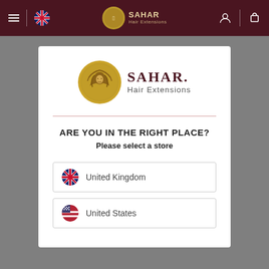[Figure (screenshot): Sahar Hair Extensions website screenshot with store selector modal. Dark maroon navigation bar at the top contains hamburger menu, UK flag, centered logo with circular coin-style icon and 'SAHAR Hair Extensions' branding, and user/cart icons on the right. A white modal dialog is centered on the page showing the Sahar logo, 'ARE YOU IN THE RIGHT PLACE?' heading, 'Please select a store' subheading, and two store selection buttons: United Kingdom and United States with respective flag icons.]